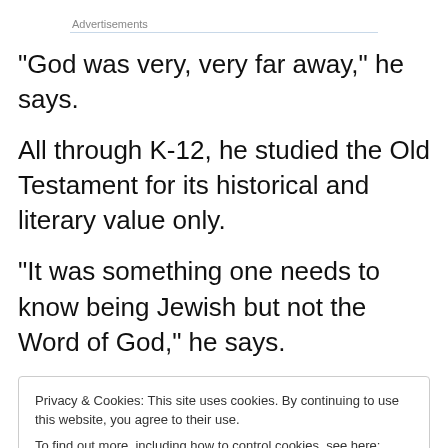Advertisements
“God was very, very far away,” he says.
All through K-12, he studied the Old Testament for its historical and literary value only.
“It was something one needs to know being Jewish but not the Word of God,” he says.
Privacy & Cookies: This site uses cookies. By continuing to use this website, you agree to their use.
To find out more, including how to control cookies, see here: Cookie Policy
Close and accept